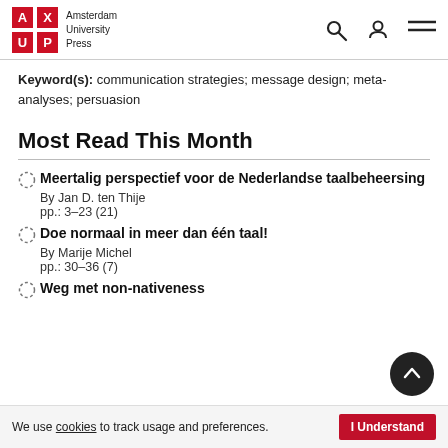Amsterdam University Press
Keyword(s): communication strategies; message design; meta-analyses; persuasion
Most Read This Month
Meertalig perspectief voor de Nederlandse taalbeheersing
By Jan D. ten Thije
pp.: 3–23 (21)
Doe normaal in meer dan één taal!
By Marije Michel
pp.: 30–36 (7)
Weg met non-nativeness
We use cookies to track usage and preferences.